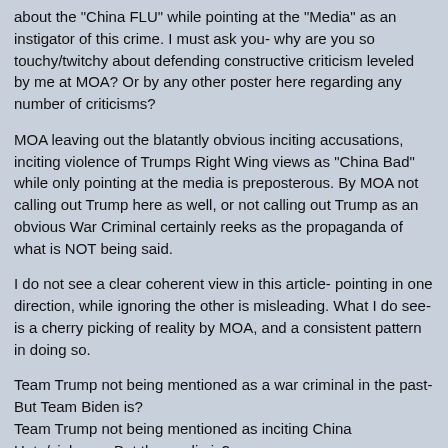about the "China FLU" while pointing at the "Media" as an instigator of this crime. I must ask you- why are you so touchy/twitchy about defending constructive criticism leveled by me at MOA? Or by any other poster here regarding any number of criticisms?
MOA leaving out the blatantly obvious inciting accusations, inciting violence of Trumps Right Wing views as "China Bad" while only pointing at the media is preposterous. By MOA not calling out Trump here as well, or not calling out Trump as an obvious War Criminal certainly reeks as the propaganda of what is NOT being said.
I do not see a clear coherent view in this article- pointing in one direction, while ignoring the other is misleading. What I do see- is a cherry picking of reality by MOA, and a consistent pattern in doing so.
Team Trump not being mentioned as a war criminal in the past- But Team Biden is?
Team Trump not being mentioned as inciting China Hate/violence- But the media is?
Ask questions, seek truths and untruths, hidden in between those what do we find?
"dis·in·gen·u·ous